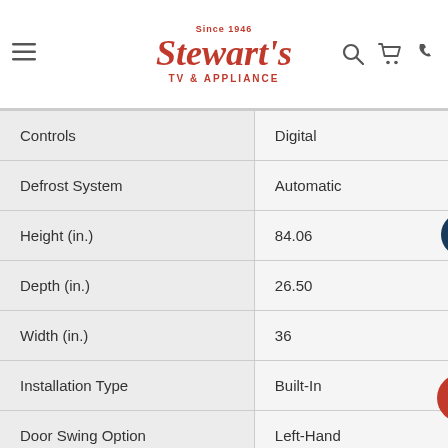[Figure (logo): Stewart's TV & Appliance logo with 'Since 1946' tagline in red]
| Attribute | Value |
| --- | --- |
| Controls | Digital |
| Defrost System | Automatic |
| Height (in.) | 84.06 |
| Depth (in.) | 26.50 |
| Width (in.) | 36 |
| Installation Type | Built-In |
| Door Swing Option | Left-Hand |